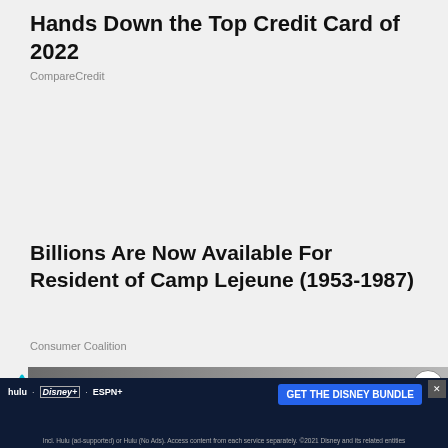Hands Down the Top Credit Card of 2022
CompareCredit
Billions Are Now Available For Resident of Camp Lejeune (1953-1987)
Consumer Coalition
[Figure (photo): Partial photo of a person, used as advertisement background for Camp Lejeune legal ad]
[Figure (infographic): Disney Bundle advertisement banner with Hulu, Disney+, ESPN+ logos and GET THE DISNEY BUNDLE call to action]